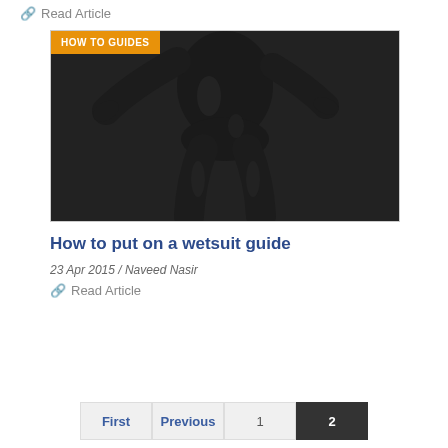🔗 Read Article
[Figure (photo): Person wearing a black full-body wetsuit, shown from torso down, with 'HOW TO GUIDES' orange badge overlay in top-left corner]
How to put on a wetsuit guide
23 Apr 2015 / Naveed Nasir
🔗 Read Article
First  Previous  1  2